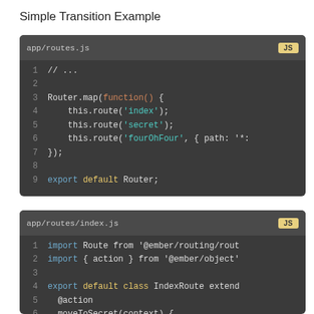Simple Transition Example
[Figure (screenshot): Code block showing app/routes.js JavaScript file with Router.map function defining index, secret, and fourOhFour routes, ending with export default Router.]
[Figure (screenshot): Code block showing app/routes/index.js JavaScript file with import statements, export default class IndexRoute extending with @action moveToSecret(context) method and if (authorized()) check.]